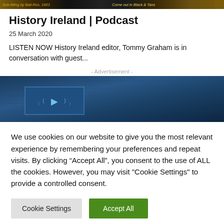[Figure (photo): Top banner image strip showing historical book/magazine covers with text including 'Come out in Black & Tans']
History Ireland | Podcast
25 March 2020
LISTEN NOW History Ireland editor, Tommy Graham is in conversation with guest...
- Advertisement -
[Figure (screenshot): Advertisement banner with dark blue textured background and a small blue box with a play/media icon]
We use cookies on our website to give you the most relevant experience by remembering your preferences and repeat visits. By clicking “Accept All”, you consent to the use of ALL the cookies. However, you may visit "Cookie Settings" to provide a controlled consent.
Cookie Settings
Accept All